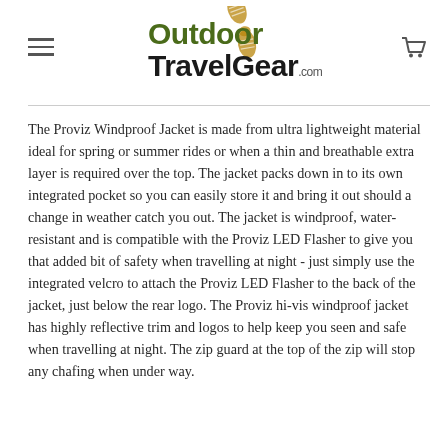[Figure (logo): OutdoorTravelGear.com logo with boot print graphics, hamburger menu icon on the left, and shopping cart icon on the right]
The Proviz Windproof Jacket is made from ultra lightweight material ideal for spring or summer rides or when a thin and breathable extra layer is required over the top. The jacket packs down in to its own integrated pocket so you can easily store it and bring it out should a change in weather catch you out. The jacket is windproof, water-resistant and is compatible with the Proviz LED Flasher to give you that added bit of safety when travelling at night - just simply use the integrated velcro to attach the Proviz LED Flasher to the back of the jacket, just below the rear logo. The Proviz hi-vis windproof jacket has highly reflective trim and logos to help keep you seen and safe when travelling at night. The zip guard at the top of the zip will stop any chafing when under way.